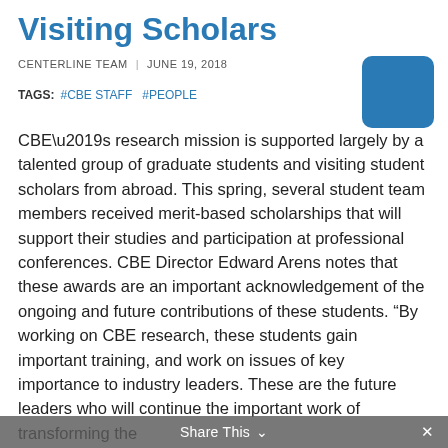Visiting Scholars
CENTERLINE TEAM  |  JUNE 19, 2018
TAGS:  #CBE STAFF  #PEOPLE
[Figure (illustration): Blue rounded square decorative box in top-right corner]
CBE’s research mission is supported largely by a talented group of graduate students and visiting student scholars from abroad. This spring, several student team members received merit-based scholarships that will support their studies and participation at professional conferences. CBE Director Edward Arens notes that these awards are an important acknowledgement of the ongoing and future contributions of these students. “By working on CBE research, these students gain important training, and work on issues of key importance to industry leaders. These are the future leaders who will continue the important work of transforming the
Share This